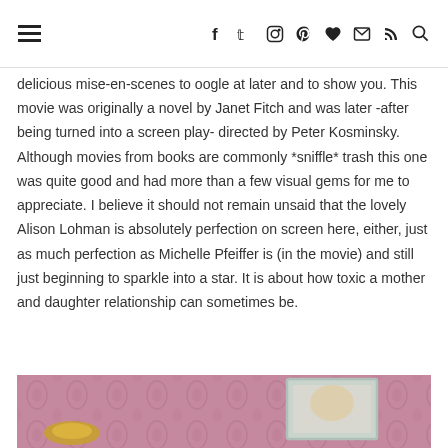[Navigation bar with hamburger menu, social icons: facebook, twitter, instagram, pinterest, heart/bloglovin, email, rss, search]
delicious mise-en-scenes to oogle at later and to show you. This movie was originally a novel by Janet Fitch and was later -after being turned into a screen play- directed by Peter Kosminsky. Although movies from books are commonly *sniffle* trash this one was quite good and had more than a few visual gems for me to appreciate. I believe it should not remain unsaid that the lovely Alison Lohman is absolutely perfection on screen here, either, just as much perfection as Michelle Pfeiffer is (in the movie) and still just beginning to sparkle into a star. It is about how toxic a mother and daughter relationship can sometimes be.
[Figure (photo): Bottom portion of a photo showing a pink/mauve damask wallpaper background with what appears to be a person and a framed item visible]